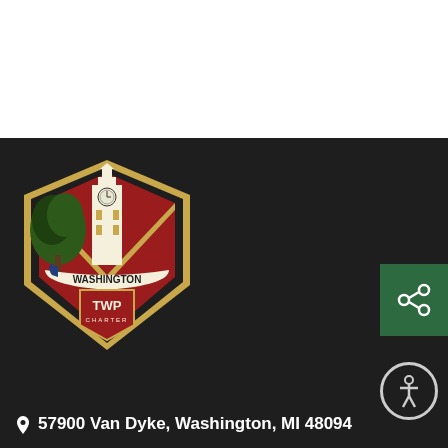[Figure (logo): Washington Township Charter logo with 1827 founding year, clock tower, tree, and TWP Charter shield emblem on dark background]
[Figure (other): Green share button with share icon in bottom right area]
[Figure (other): Circular accessibility icon button with person symbol]
57900 Van Dyke, Washington, MI 48094